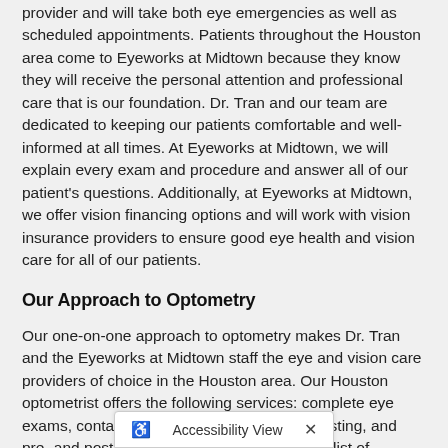provider and will take both eye emergencies as well as scheduled appointments. Patients throughout the Houston area come to Eyeworks at Midtown because they know they will receive the personal attention and professional care that is our foundation. Dr. Tran and our team are dedicated to keeping our patients comfortable and well-informed at all times. At Eyeworks at Midtown, we will explain every exam and procedure and answer all of our patient's questions. Additionally, at Eyeworks at Midtown, we offer vision financing options and will work with vision insurance providers to ensure good eye health and vision care for all of our patients.
Our Approach to Optometry
Our one-on-one approach to optometry makes Dr. Tran and the Eyeworks at Midtown staff the eye and vision care providers of choice in the Houston area. Our Houston optometrist offers the following services: complete eye exams, contact lenses, glasses, glaucoma testing, and pre- and post-operative care. For a complete list of services, visit our services page or call our Houston office at (713) 942-9090.